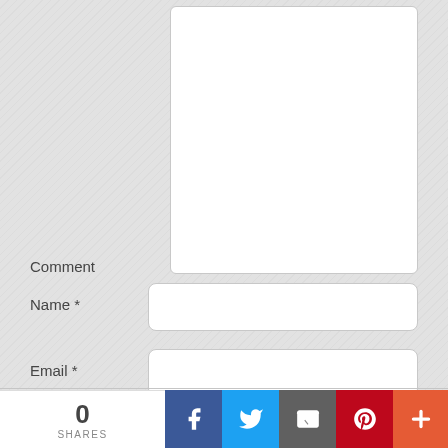Comment
Name *
Email *
Website
Save my name, email, and website in this browser for the next time I comment.
Submit Your Comment
0
SHARES